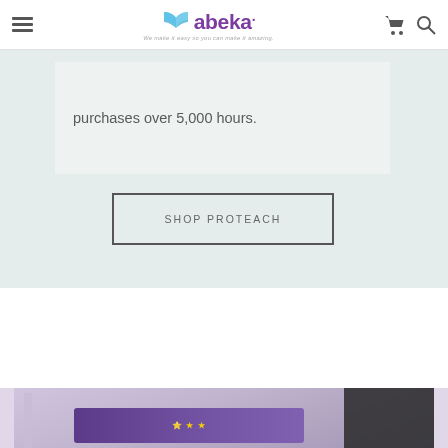Abeka - We make it easy so you can make it amazing.
purchases over 5,000 hours.
SHOP PROTEACH
[Figure (photo): Bottom portion of a classroom scene with purple/lavender colored walls and what appears to be educational posters or banners.]